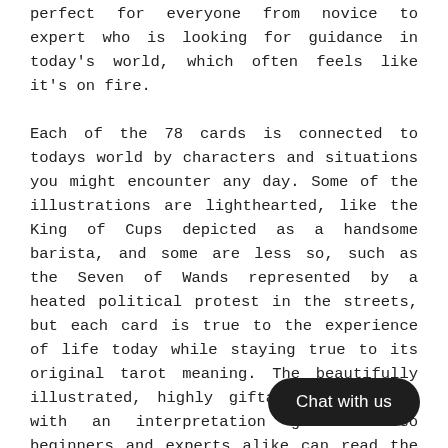perfect for everyone from novice to expert who is looking for guidance in today's world, which often feels like it's on fire.

Each of the 78 cards is connected to todays world by characters and situations you might encounter any day. Some of the illustrations are lighthearted, like the King of Cups depicted as a handsome barista, and some are less so, such as the Seven of Wands represented by a heated political protest in the streets, but each card is true to the experience of life today while staying true to its original tarot meaning. The beautifully illustrated, highly giftable deck comes with an interpretation guidebook so beginners and experts alike can read the cards. The deck and book come in a beautiful keepsake box. Whether you are looking to add a unique deck to your collection or are just beginning your tarot journey, Real Talk Tarot is the fresh take on tarot that you need right now.
[Figure (other): Dark rounded rectangle button with white text reading 'Chat with us']